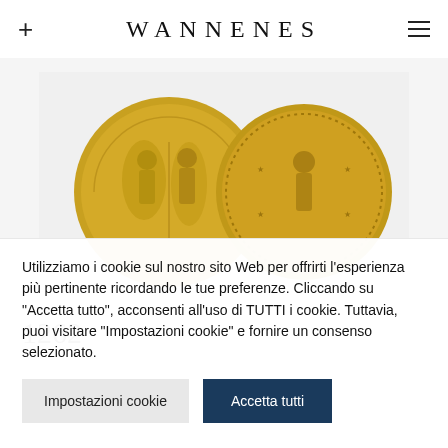WANNENES
[Figure (photo): Two gold coins side by side on a light grey background. The left coin shows two standing figures. The right coin shows a single standing figure with a dotted border.]
1262
Utilizziamo i cookie sul nostro sito Web per offrirti l'esperienza più pertinente ricordando le tue preferenze. Cliccando su "Accetta tutto", acconsenti all'uso di TUTTI i cookie. Tuttavia, puoi visitare "Impostazioni cookie" e fornire un consenso selezionato.
Impostazioni cookie
Accetta tutti